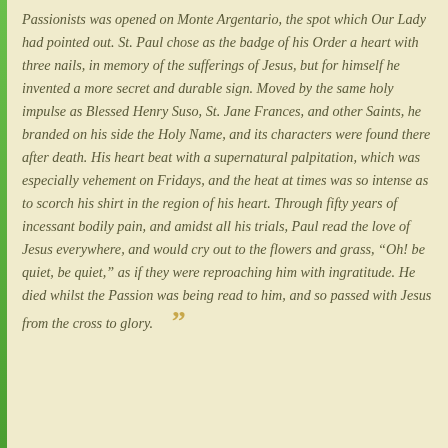Passionists was opened on Monte Argentario, the spot which Our Lady had pointed out. St. Paul chose as the badge of his Order a heart with three nails, in memory of the sufferings of Jesus, but for himself he invented a more secret and durable sign. Moved by the same holy impulse as Blessed Henry Suso, St. Jane Frances, and other Saints, he branded on his side the Holy Name, and its characters were found there after death. His heart beat with a supernatural palpitation, which was especially vehement on Fridays, and the heat at times was so intense as to scorch his shirt in the region of his heart. Through fifty years of incessant bodily pain, and amidst all his trials, Paul read the love of Jesus everywhere, and would cry out to the flowers and grass, “Oh! be quiet, be quiet,” as if they were reproaching him with ingratitude. He died whilst the Passion was being read to him, and so passed with Jesus from the cross to glory.